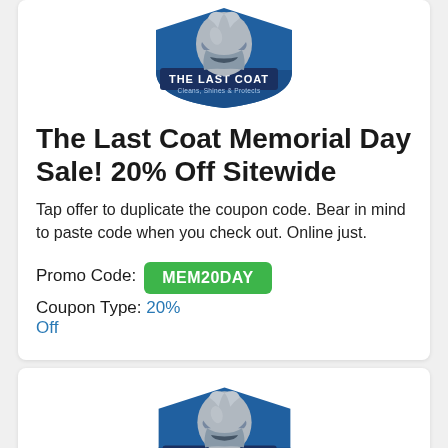[Figure (logo): The Last Coat logo — blue shield with roman/spartan helmet, text 'THE LAST COAT Cleans, Shines & Protects']
The Last Coat Memorial Day Sale! 20% Off Sitewide
Tap offer to duplicate the coupon code. Bear in mind to paste code when you check out. Online just.
Promo Code: MEM20DAY   Coupon Type: 20% Off
[Figure (logo): The Last Coat logo — blue shield with roman/spartan helmet, text 'THE LAST COAT Cleans, Shines & Protects']
The Last Coat Discount 15% Off